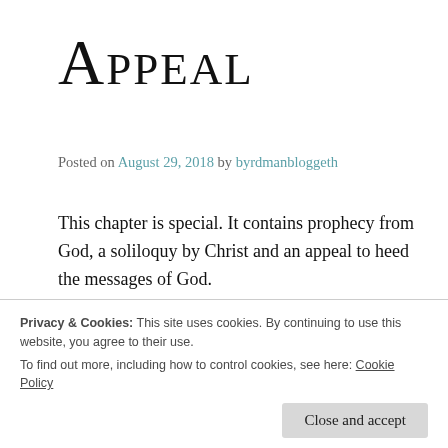Appeal
Posted on August 29, 2018 by byrdmanbloggeth
This chapter is special. It contains prophecy from God, a soliloquy by Christ and an appeal to heed the messages of God.
Prophecy: verses 1-3
The prophecy spoken by God through Isaiah in this passage is not one that tells the future, but is simply a
Privacy & Cookies: This site uses cookies. By continuing to use this website, you agree to their use.
To find out more, including how to control cookies, see here: Cookie Policy
Close and accept